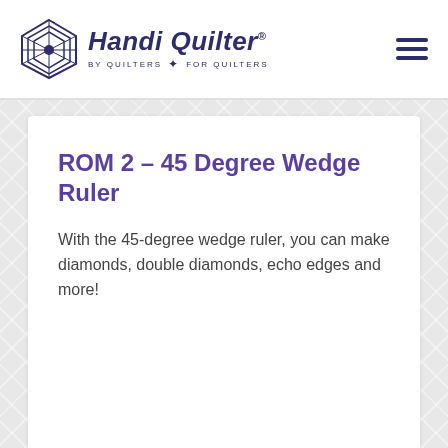Handi Quilter — BY QUILTERS FOR QUILTERS
ROM 2 – 45 Degree Wedge Ruler
With the 45-degree wedge ruler, you can make diamonds, double diamonds, echo edges and more!
$59.50 RRP